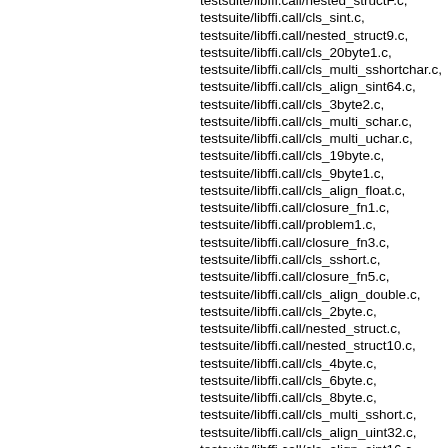testsuite/libffi.call/nested_structF.c,
testsuite/libffi.call/cls_sint.c,
testsuite/libffi.call/nested_struct9.c,
testsuite/libffi.call/cls_20byte1.c,
testsuite/libffi.call/cls_multi_sshortchar.c,
testsuite/libffi.call/cls_align_sint64.c,
testsuite/libffi.call/cls_3byte2.c,
testsuite/libffi.call/cls_multi_schar.c,
testsuite/libffi.call/cls_multi_uchar.c,
testsuite/libffi.call/cls_19byte.c,
testsuite/libffi.call/cls_9byte1.c,
testsuite/libffi.call/cls_align_float.c,
testsuite/libffi.call/closure_fn1.c,
testsuite/libffi.call/problem1.c,
testsuite/libffi.call/closure_fn3.c,
testsuite/libffi.call/cls_sshort.c,
testsuite/libffi.call/closure_fn5.c,
testsuite/libffi.call/cls_align_double.c,
testsuite/libffi.call/cls_2byte.c,
testsuite/libffi.call/nested_struct.c,
testsuite/libffi.call/nested_struct10.c,
testsuite/libffi.call/cls_4byte.c,
testsuite/libffi.call/cls_6byte.c,
testsuite/libffi.call/cls_8byte.c,
testsuite/libffi.call/cls_multi_sshort.c,
testsuite/libffi.call/cls_align_uint32.c,
testsuite/libffi.call/cls_align_sint16.c,
testsuite/libffi.call/cls_float.c,
testsuite/libffi.call/cls_20byte.c,
testsuite/libffi.call/cls_5_1_byte.c,
testsuite/libffi.call/nested_struct2.c,